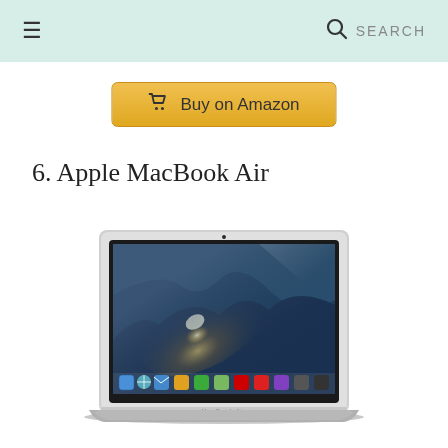≡   SEARCH
[Figure (other): Buy on Amazon button with shopping cart icon, golden/yellow background]
6. Apple MacBook Air
[Figure (photo): Apple MacBook Air laptop with Mac OS X Mountain Lion wallpaper displayed on screen, silver aluminum body, MacBook Air branding on bottom bezel]